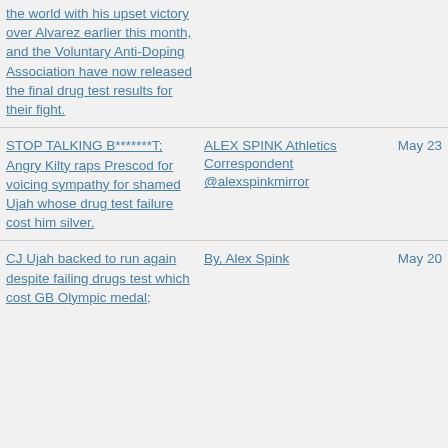the world with his upset victory over Alvarez earlier this month, and the Voluntary Anti-Doping Association have now released the final drug test results for their fight.
STOP TALKING B*******T; Angry Kilty raps Prescod for voicing sympathy for shamed Ujah whose drug test failure cost him silver.
ALEX SPINK Athletics Correspondent @alexspinkmirror
May 23
CJ Ujah backed to run again despite failing drugs test which cost GB Olympic medal;
By, Alex Spink
May 20